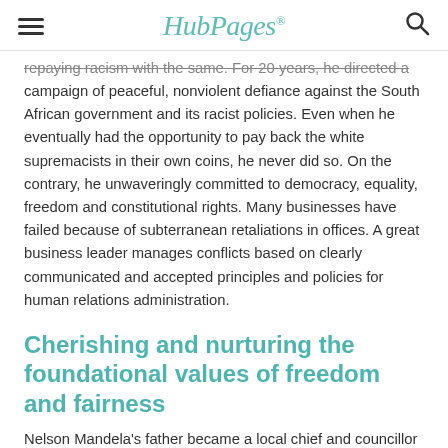HubPages
repaying racism with the same. For 20 years, he directed a campaign of peaceful, nonviolent defiance against the South African government and its racist policies. Even when he eventually had the opportunity to pay back the white supremacists in their own coins, he never did so. On the contrary, he unwaveringly committed to democracy, equality, freedom and constitutional rights. Many businesses have failed because of subterranean retaliations in offices. A great business leader manages conflicts based on clearly communicated and accepted principles and policies for human relations administration.
Cherishing and nurturing the foundational values of freedom and fairness
Nelson Mandela's father became a local chief and councillor